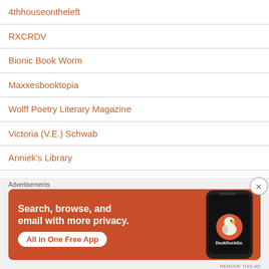4thhouseontheleft
RXCRDV
Bionic Book Worm
Maxxesbooktopia
Wolff Poetry Literary Magazine
Victoria (V.E.) Schwab
Anniek's Library
The Calico Books
llady literary
Advertisements
[Figure (infographic): DuckDuckGo advertisement banner on orange background. Text: 'Search, browse, and email with more privacy. All in One Free App' with DuckDuckGo logo and phone graphic.]